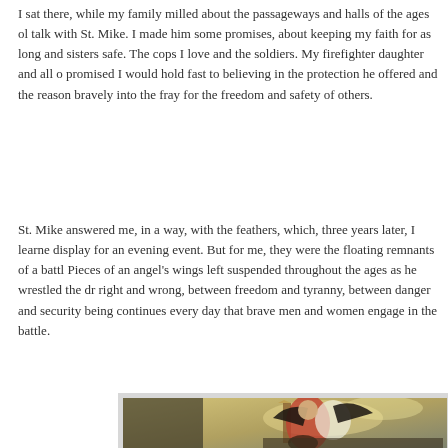I sat there, while my family milled about the passageways and halls of the ages old talk with St. Mike. I made him some promises, about keeping my faith for as long and sisters safe. The cops I love and the soldiers. My firefighter daughter and all o promised I would hold fast to believing in the protection he offered and the reason bravely into the fray for the freedom and safety of others.
St. Mike answered me, in a way, with the feathers, which, three years later, I learne display for an evening event. But for me, they were the floating remnants of a battl Pieces of an angel's wings left suspended throughout the ages as he wrestled the dr right and wrong, between freedom and tyranny, between danger and security being continues every day that brave men and women engage in the battle.
[Figure (illustration): A classical painting of the Archangel Michael, depicted as a young winged figure in red and white robes, holding a long spear or lance aloft, triumphing over a dark figure below. The background shows dramatic cloudy skies with warm golden and grey tones.]